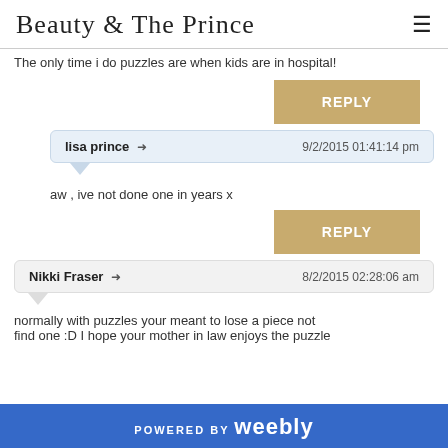Beauty & The Prince
The only time i do puzzles are when kids are in hospital!
REPLY
lisa prince → 9/2/2015 01:41:14 pm
aw , ive not done one in years x
REPLY
Nikki Fraser → 8/2/2015 02:28:06 am
normally with puzzles your meant to lose a piece not find one :D I hope your mother in law enjoys the puzzle
POWERED BY weebly